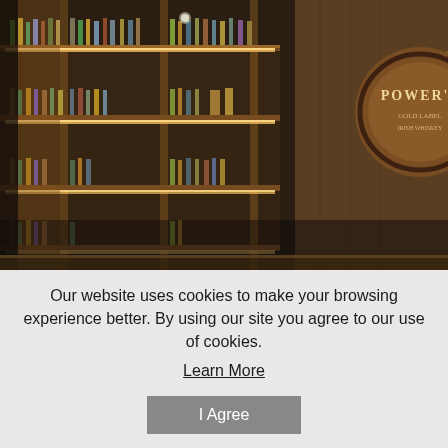[Figure (photo): Interior photo of a bar with illuminated wooden shelves filled with liquor bottles. Visible whiskey barrel signs including Powers, Old No. 7 (Jack Daniel's), and Wild Turkey. A guitar neck is visible in the foreground, and a speaker/microphone stand is on the right side.]
Our website uses cookies to make your browsing experience better. By using our site you agree to our use of cookies.
Learn More
I Agree